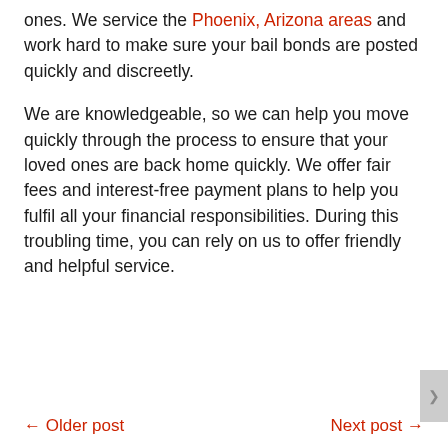ones. We service the Phoenix, Arizona areas and work hard to make sure your bail bonds are posted quickly and discreetly.
We are knowledgeable, so we can help you move quickly through the process to ensure that your loved ones are back home quickly. We offer fair fees and interest-free payment plans to help you fulfil all your financial responsibilities. During this troubling time, you can rely on us to offer friendly and helpful service.
← Older post   Next post →